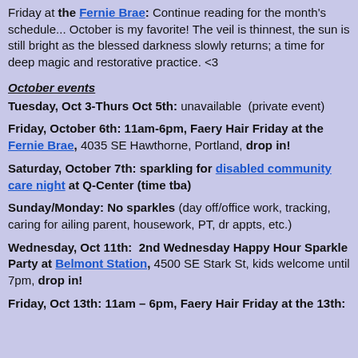Friday at the Fernie Brae: Continue reading for the month's schedule... October is my favorite! The veil is thinnest, the sun is still bright as the blessed darkness slowly returns; a time for deep magic and restorative practice. <3
October events
Tuesday, Oct 3-Thurs Oct 5th: unavailable  (private event)
Friday, October 6th: 11am-6pm, Faery Hair Friday at the Fernie Brae, 4035 SE Hawthorne, Portland, drop in!
Saturday, October 7th: sparkling for disabled community care night at Q-Center (time tba)
Sunday/Monday: No sparkles (day off/office work, tracking, caring for ailing parent, housework, PT, dr appts, etc.)
Wednesday, Oct 11th: 2nd Wednesday Happy Hour Sparkle Party at Belmont Station, 4500 SE Stark St, kids welcome until 7pm, drop in!
Friday, Oct 13th: 11am – 6pm, Faery Hair Friday at the 13th...